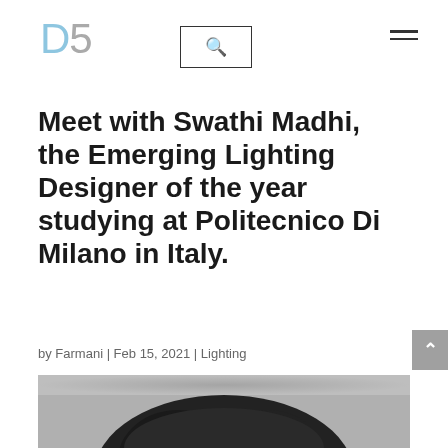D5
Meet with Swathi Madhi, the Emerging Lighting Designer of the year studying at Politecnico Di Milano in Italy.
by Farmani | Feb 15, 2021 | Lighting
[Figure (photo): Black and white portrait photograph of a person, cropped showing the top of their head with dark hair]